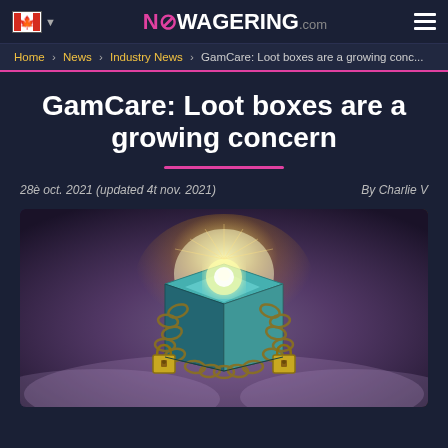NOWAGERING.com
Home › News › Industry News › GamCare: Loot boxes are a growing conc...
GamCare: Loot boxes are a growing concern
28è oct. 2021 (updated 4t nov. 2021)   By Charlie V
[Figure (illustration): A glowing loot box wrapped in chains and padlocks, with golden light emanating from the top, set against a misty purple and smoky background]